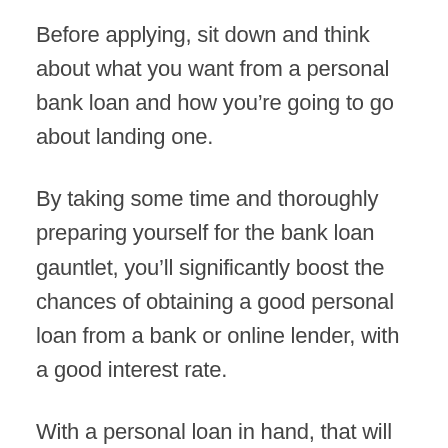Before applying, sit down and think about what you want from a personal bank loan and how you’re going to go about landing one.
By taking some time and thoroughly preparing yourself for the bank loan gauntlet, you’ll significantly boost the chances of obtaining a good personal loan from a bank or online lender, with a good interest rate.
With a personal loan in hand, that will go a long way in solving any pressing personal finance issues at home.